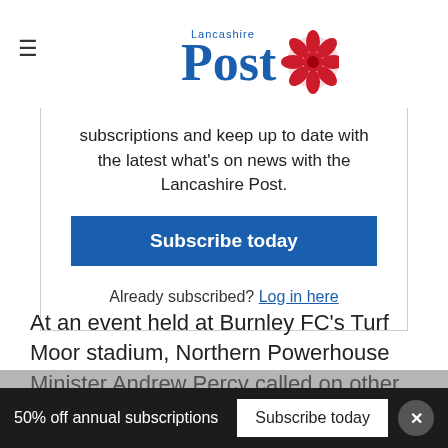Lancashire Post
subscriptions and keep up to date with the latest what's on news with the Lancashire Post.
Subscribe today
Already subscribed? Log in here
At an event held at Burnley FC's Turf Moor stadium, Northern Powerhouse Minister Andrew Percy called on other businesses to pledge their support to the Northern Powerhouse to
50% off annual subscriptions   Subscribe today